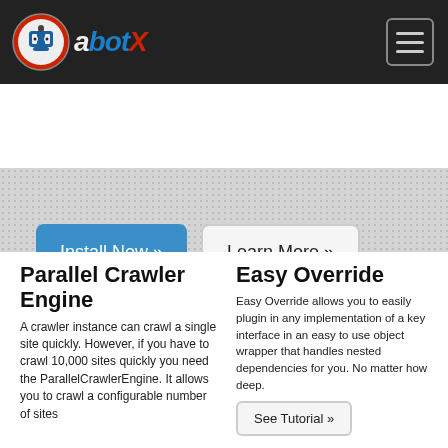abotX navigation header with logo and hamburger menu
[Figure (screenshot): Hero section with textured gray background containing two buttons: 'Install Now »' (blue) and 'Learn More »' (light/white)]
Parallel Crawler Engine
A crawler instance can crawl a single site quickly. However, if you have to crawl 10,000 sites quickly you need the ParallelCrawlerEngine. It allows you to crawl a configurable number of sites
Easy Override
Easy Override allows you to easily plugin in any implementation of a key interface in an easy to use object wrapper that handles nested dependencies for you. No matter how deep.
See Tutorial »